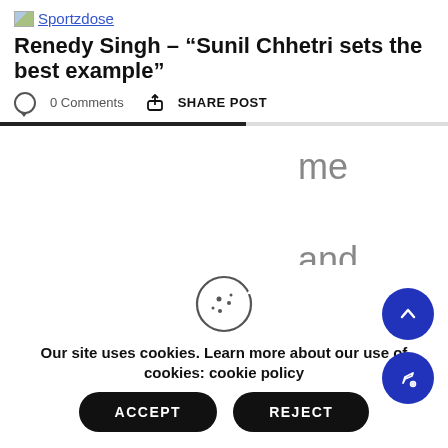Sportzdose
Renedy Singh – “Sunil Chhetri sets the best example”
0 Comments  SHARE POST
me and said, ‘Renedy bhai,
Our site uses cookies. Learn more about our use of cookies: cookie policy
ACCEPT
REJECT